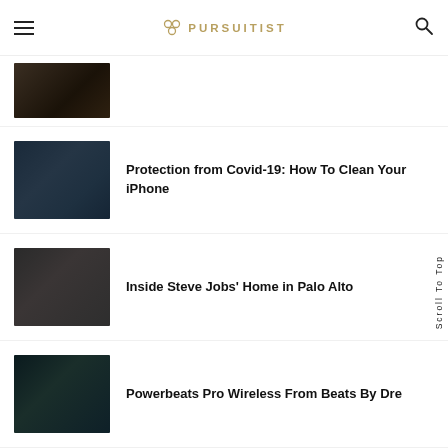PURSUITIST
[Figure (photo): Dark blurred thumbnail image for partially visible article at top]
[Figure (photo): Dark blurred thumbnail image for Covid-19 article]
Protection from Covid-19: How To Clean Your iPhone
[Figure (photo): Dark blurred thumbnail image for Steve Jobs article]
Inside Steve Jobs' Home in Palo Alto
[Figure (photo): Dark blurred thumbnail image for Powerbeats Pro article]
Powerbeats Pro Wireless From Beats By Dre